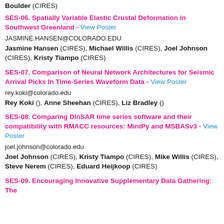Boulder (CIRES)
SES-06. Spatially Variable Elastic Crustal Deformation in Southwest Greenland - View Poster
JASMINE.HANSEN@COLORADO.EDU
Jasmine Hansen (CIRES), Michael Willis (CIRES), Joel Johnson (CIRES), Kristy Tiampo (CIRES)
SES-07. Comparison of Neural Network Architectures for Seismic Arrival Picks In Time-Series Waveform Data - View Poster
rey.koki@colorado.edu
Rey Koki (), Anne Sheehan (CIRES), Liz Bradley ()
SES-08. Comparing DInSAR time series software and their compatibility with RMACC resources: MintPy and MSBASv3 - View Poster
joel.johnson@colorado.edu
Joel Johnson (CIRES), Kristy Tiampo (CIRES), Mike Willis (CIRES), Steve Nerem (CIRES), Eduard Heijkoop (CIRES)
SES-09. Encouraging Innovative Supplementary Data Gathering: The